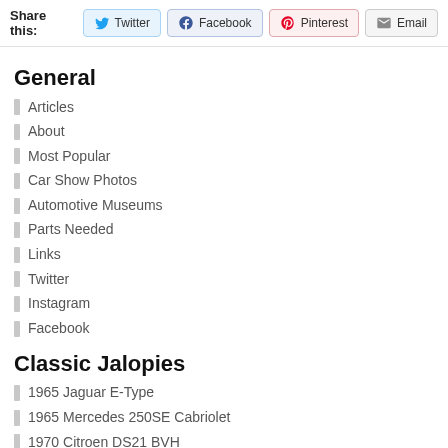Share this: Twitter Facebook Pinterest Email
General
Articles
About
Most Popular
Car Show Photos
Automotive Museums
Parts Needed
Links
Twitter
Instagram
Facebook
Classic Jalopies
1965 Jaguar E-Type
1965 Mercedes 250SE Cabriolet
1970 Citroen DS21 BVH
1977 Mercedes 450SLC
1979 Mercedes 280SE
1986 Mercedes 300SE
1987 Mercedes 420SEL parts